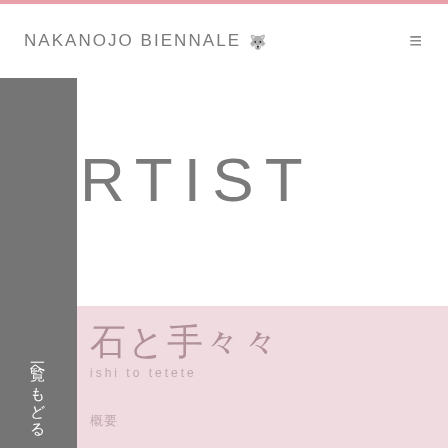NAKANOJO BIENNALE
ARTIST
一覧へもどる
石と手
ishi to tetete
概要